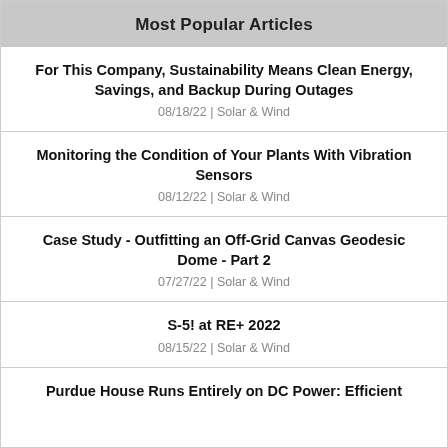Most Popular Articles
For This Company, Sustainability Means Clean Energy, Savings, and Backup During Outages
08/18/22 | Solar & Wind
Monitoring the Condition of Your Plants With Vibration Sensors
08/12/22 | Solar & Wind
Case Study - Outfitting an Off-Grid Canvas Geodesic Dome - Part 2
07/27/22 | Solar & Wind
S-5! at RE+ 2022
08/15/22 | Solar & Wind
Purdue House Runs Entirely on DC Power: Efficient...